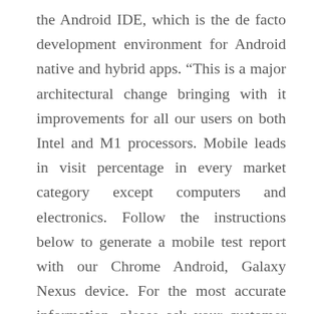the Android IDE, which is the de facto development environment for Android native and hybrid apps. “This is a major architectural change bringing with it improvements for all our users on both Intel and M1 processors. Mobile leads in visit percentage in every market category except computers and electronics. Follow the instructions below to generate a mobile test report with our Chrome Android, Galaxy Nexus device. For the most accurate information, please ask your customer service representative. Designers and developers work together to wireframe, or outline, the website. Mobile device security training programs can teach employees about